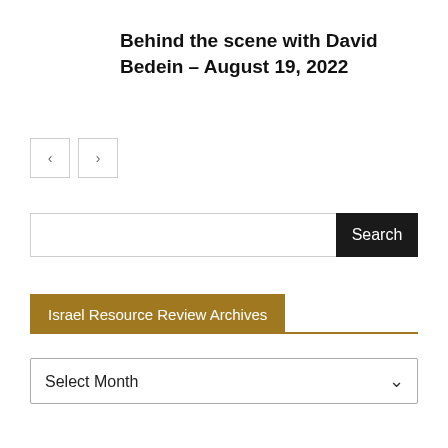Behind the scene with David Bedein – August 19, 2022
Israel Resource Review Archives
Select Month